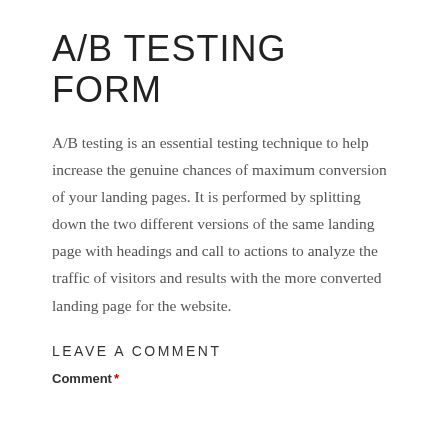A/B TESTING FORM
A/B testing is an essential testing technique to help increase the genuine chances of maximum conversion of your landing pages. It is performed by splitting down the two different versions of the same landing page with headings and call to actions to analyze the traffic of visitors and results with the more converted landing page for the website.
LEAVE A COMMENT
Comment *